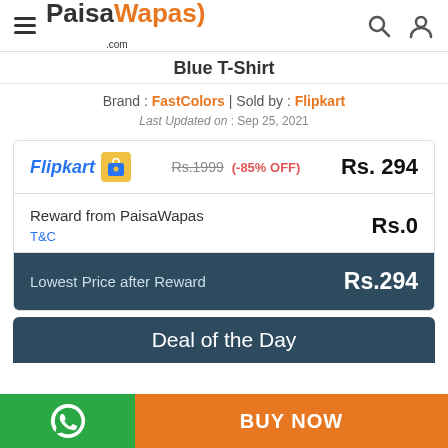PaisaWapas.com
Blue T-Shirt
Brand : FastColors | Sold by : Flipkart
Last Updated on : Sep 25, 2021
| Store | Original Price | Discount | Final Price |
| --- | --- | --- | --- |
| Flipkart | Rs.1999 | (-85% OFF) | Rs. 294 |
| Reward from PaisaWapas |  |  | Rs.0 |
| Lowest Price after Reward |  |  | Rs.294 |
Deal of the Day
BUY NOW